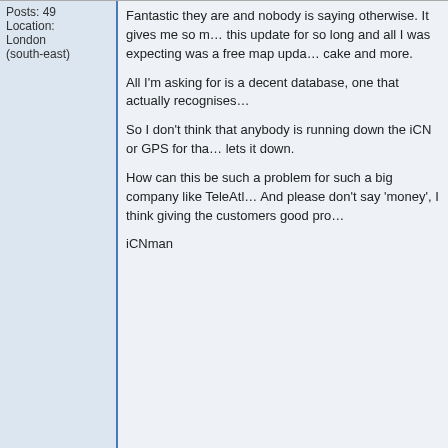Posts: 49
Location: London (south-east)
Fantastic they are and nobody is saying otherwise. It gives me so m... this update for so long and all I was expecting was a free map upda... cake and more.

All I'm asking for is a decent database, one that actually recognises...

So I don't think that anybody is running down the iCN or GPS for tha... lets it down.

How can this be such a problem for such a big company like TeleAtl... And please don't say 'money', I think giving the customers good pro...

iCNman
Back to top
buckrogers
Regular Visitor

Joined: 10/07/2003 16:21:49
Posts: 66
Location: United Kingdom
Posted: Tue Feb 10, 2004 12:54 am    Post subject:
By the way, the old map system had bugs it seems that nothing is p...

V2 now ditches the shortcuts menu and replaces it with "Favourites"... it is an improvement you can now go stright to your address without... is useful.